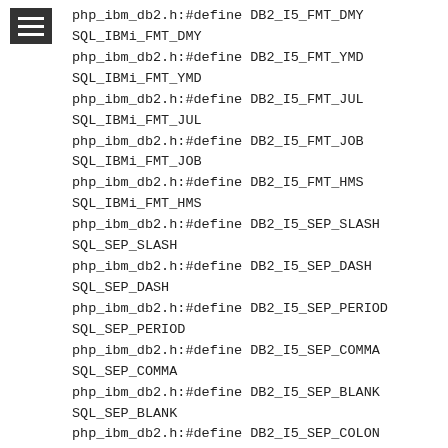php_ibm_db2.h:#define DB2_I5_FMT_DMY
SQL_IBMi_FMT_DMY
php_ibm_db2.h:#define DB2_I5_FMT_YMD
SQL_IBMi_FMT_YMD
php_ibm_db2.h:#define DB2_I5_FMT_JUL
SQL_IBMi_FMT_JUL
php_ibm_db2.h:#define DB2_I5_FMT_JOB
SQL_IBMi_FMT_JOB
php_ibm_db2.h:#define DB2_I5_FMT_HMS
SQL_IBMi_FMT_HMS
php_ibm_db2.h:#define DB2_I5_SEP_SLASH
SQL_SEP_SLASH
php_ibm_db2.h:#define DB2_I5_SEP_DASH
SQL_SEP_DASH
php_ibm_db2.h:#define DB2_I5_SEP_PERIOD
SQL_SEP_PERIOD
php_ibm_db2.h:#define DB2_I5_SEP_COMMA
SQL_SEP_COMMA
php_ibm_db2.h:#define DB2_I5_SEP_BLANK
SQL_SEP_BLANK
php_ibm_db2.h:#define DB2_I5_SEP_COLON